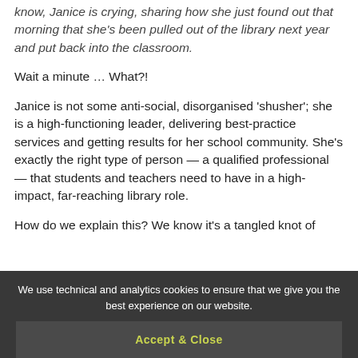know, Janice is crying, sharing how she just found out that morning that she's been pulled out of the library next year and put back into the classroom.
Wait a minute … What?!
Janice is not some anti-social, disorganised 'shusher'; she is a high-functioning leader, delivering best-practice services and getting results for her school community. She's exactly the right type of person — a qualified professional — that students and teachers need to have in a high-impact, far-reaching library role.
How do we explain this? We know it's a tangled knot of
We use technical and analytics cookies to ensure that we give you the best experience on our website.
Accept & Close